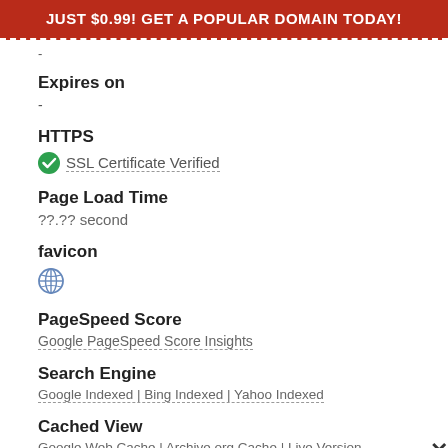JUST $0.99! GET A POPULAR DOMAIN TODAY!
-
Expires on
-
HTTPS
SSL Certificate Verified
Page Load Time
??.?? second
favicon
[Figure (other): Globe/favicon icon (blue world globe symbol)]
PageSpeed Score
Google PageSpeed Score Insights
Search Engine
Google Indexed | Bing Indexed | Yahoo Indexed
Cached View
Google Web Cache | Archive.org Cache | Live Version